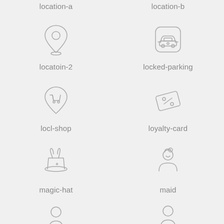[Figure (illustration): location-a icon: map pin outline]
location-a
[Figure (illustration): location-b icon: car in rounded square (locked parking style)]
location-b
[Figure (illustration): locatoin-2 icon: map pin with shopping cart inside]
locatoin-2
[Figure (illustration): locked-parking icon: credit/loyalty card with percentage dots]
locked-parking
[Figure (illustration): locl-shop icon: map pin with shopping cart]
locl-shop
[Figure (illustration): loyalty-card icon: card with dots]
loyalty-card
[Figure (illustration): magic-hat icon: top hat with rabbit ears]
magic-hat
[Figure (illustration): maid icon: female figure with hair bun]
maid
[Figure (illustration): partial male figure icon at bottom left]
[Figure (illustration): partial person silhouette icon at bottom right]